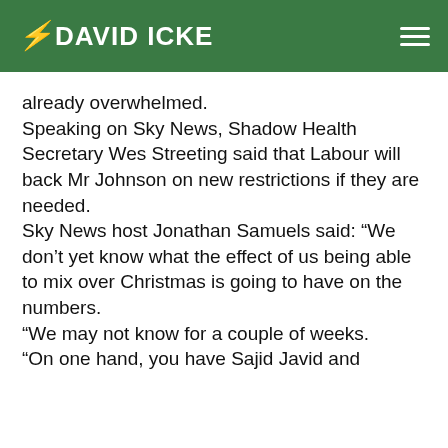DAVID ICKE
already overwhelmed.
Speaking on Sky News, Shadow Health Secretary Wes Streeting said that Labour will back Mr Johnson on new restrictions if they are needed.
Sky News host Jonathan Samuels said: “We don’t yet know what the effect of us being able to mix over Christmas is going to have on the numbers.
“We may not know for a couple of weeks.
“On one hand, you have Sajid Javid and